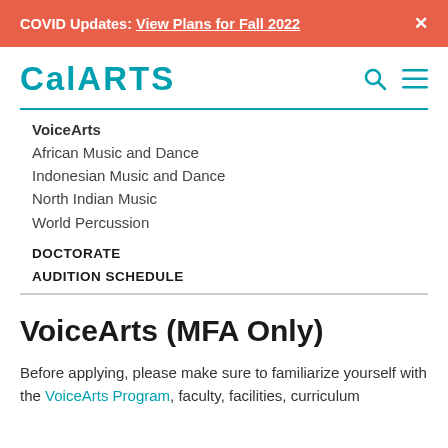COVID Updates: View Plans for Fall 2022
[Figure (logo): CalArts logo in teal with search and menu icons]
VoiceArts
African Music and Dance
Indonesian Music and Dance
North Indian Music
World Percussion
DOCTORATE
AUDITION SCHEDULE
VoiceArts (MFA Only)
Before applying, please make sure to familiarize yourself with the VoiceArts Program, faculty, facilities, curriculum